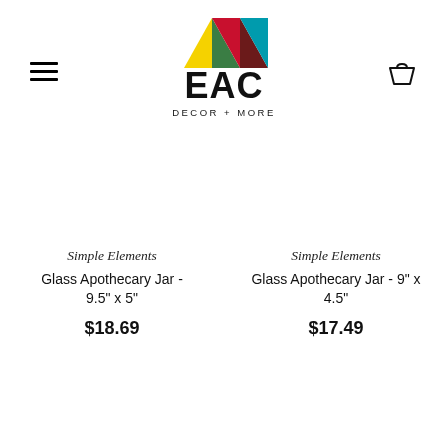[Figure (logo): EAC Decor + More logo with colorful geometric triangles above large 'EAC' text and 'DECOR + MORE' tagline]
Simple Elements
Glass Apothecary Jar - 9.5" x 5"
$18.69
Simple Elements
Glass Apothecary Jar - 9" x 4.5"
$17.49